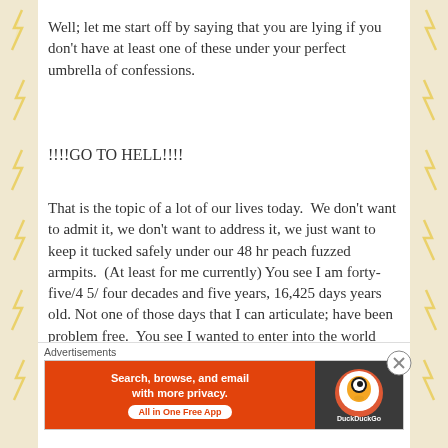Well; let me start off by saying that you are lying if you don’t have at least one of these under your perfect umbrella of confessions.
!!!!GO TO HELL!!!!
That is the topic of a lot of our lives today.  We don’t want to admit it, we don’t want to address it, we just want to keep it tucked safely under our 48 hr peach fuzzed armpits.  (At least for me currently) You see I am forty-five/4 5/ four decades and five years, 16,425 days years old. Not one of those days that I can articulate; have been problem free.  You see I wanted to enter into the world feet first.  I didn’t smile as an infant, I gave you the side-eye. I always felt different.
I remember the first time I wanted to sav/scream:
Advertisements
[Figure (infographic): DuckDuckGo advertisement banner: orange left side with text 'Search, browse, and email with more privacy. All in One Free App' and dark right side with DuckDuckGo logo]